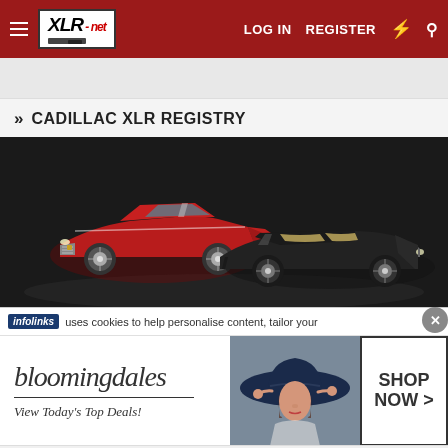XLR-NET | LOG IN | REGISTER
» CADILLAC XLR REGISTRY
[Figure (photo): Two Cadillac XLR sports cars on dark background — a red coupe on the left and a black convertible on the right]
infolinks uses cookies to help personalise content, tailor your
[Figure (other): Bloomingdales advertisement: 'View Today's Top Deals!' with SHOP NOW > button and woman in wide-brim hat]